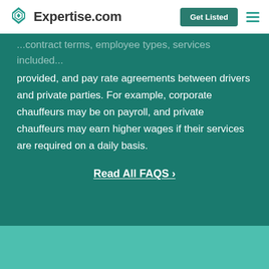Expertise.com
provided, and pay rate agreements between drivers and private parties. For example, corporate chauffeurs may be on payroll, and private chauffeurs may earn higher wages if their services are required on a daily basis.
Read All FAQS →
Wrong city? Here are some nearby places:
Kansas City